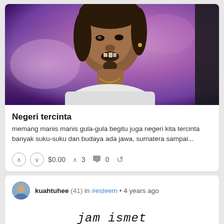[Figure (photo): Close-up photo of a person with short dark hair, wearing a white shirt and gold necklace, speaking or reacting, with a purple blurred background visible behind them. Screenshot from a TV show or video.]
Negeri tercinta
memang manis manis gula-gula begitu juga negeri kita tercinta banyak suku-suku dan budaya ada jawa, sumatera sampai...
↑ ↓ $0.00 ↑ 3 💬 0 ↺
kuahtuhee (41) in #esteem • 4 years ago
[Figure (illustration): Partial image of a hand-drawn clock face labeled 'jam ismet' with the number 12 visible at the top of the clock.]